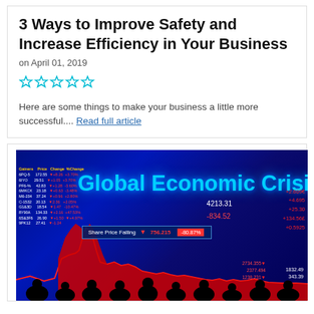3 Ways to Improve Safety and Increase Efficiency in Your Business
on April 01, 2019
[Figure (other): Five empty star rating icons in cyan/teal outline]
Here are some things to make your business a little more successful.... Read full article
[Figure (photo): Stock market display board showing 'Global Economic Crisis' text in glowing blue neon letters, with ticker data, falling share prices, red line chart, and silhouettes of people watching the screens in a darkened room.]